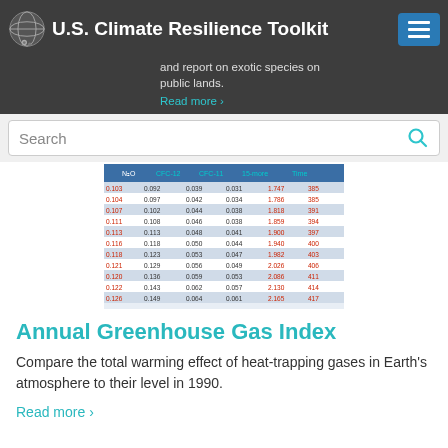U.S. Climate Resilience Toolkit
and report on exotic species on public lands.
Read more ›
[Figure (table-as-image): Screenshot of a data table with columns for N2O, CFC-12, CFC-11, 15-more, and Time showing numerical values in black and red text on a blue/white striped background.]
Annual Greenhouse Gas Index
Compare the total warming effect of heat-trapping gases in Earth's atmosphere to their level in 1990.
Read more ›